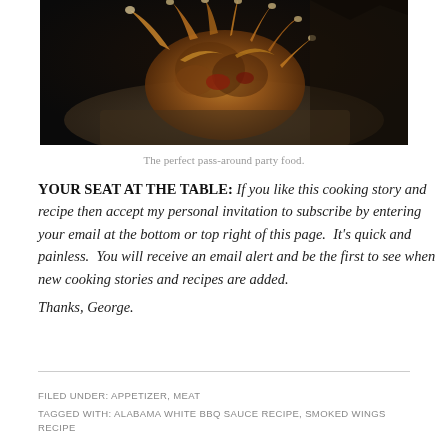[Figure (photo): Close-up photo of smoked/grilled chicken wings on a dark background, showing browned and charred meat with bones visible.]
The perfect pass-around party food.
YOUR SEAT AT THE TABLE: If you like this cooking story and recipe then accept my personal invitation to subscribe by entering your email at the bottom or top right of this page. It's quick and painless. You will receive an email alert and be the first to see when new cooking stories and recipes are added. Thanks, George.
FILED UNDER: APPETIZER, MEAT
TAGGED WITH: ALABAMA WHITE BBQ SAUCE RECIPE, SMOKED WINGS RECIPE